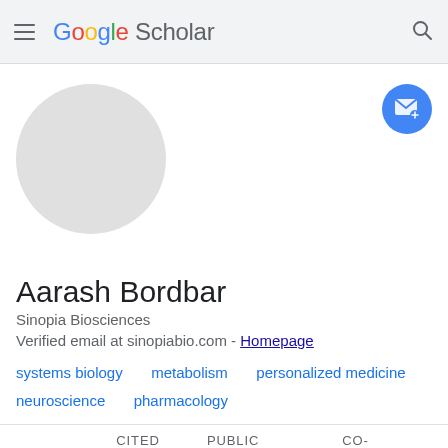Google Scholar
[Figure (illustration): Circular gray avatar placeholder image]
[Figure (illustration): Blue circular follow/email button with envelope and plus icon]
Aarash Bordbar
Sinopia Biosciences
Verified email at sinopiabio.com - Homepage
systems biology
metabolism
personalized medicine
neuroscience
pharmacology
ARTICLES  CITED BY  PUBLIC ACCESS  CO-AUTHORS
SORT ▾  CITED BY